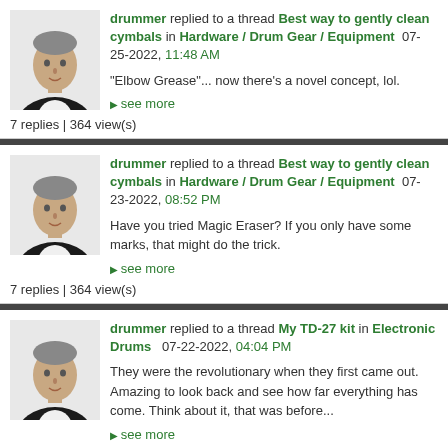[Figure (photo): Profile photo of a man in a dark jacket and white shirt]
drummer replied to a thread Best way to gently clean cymbals in Hardware / Drum Gear / Equipment 07-25-2022, 11:48 AM
"Elbow Grease"... now there's a novel concept, lol.
▶ see more
7 replies | 364 view(s)
[Figure (photo): Profile photo of a man in a dark jacket and white shirt]
drummer replied to a thread Best way to gently clean cymbals in Hardware / Drum Gear / Equipment 07-23-2022, 08:52 PM
Have you tried Magic Eraser? If you only have some marks, that might do the trick.
▶ see more
7 replies | 364 view(s)
[Figure (photo): Profile photo of a man in a dark jacket and white shirt]
drummer replied to a thread My TD-27 kit in Electronic Drums 07-22-2022, 04:04 PM
They were the revolutionary when they first came out. Amazing to look back and see how far everything has come. Think about it, that was before...
▶ see more
7 replies | 651 view(s)